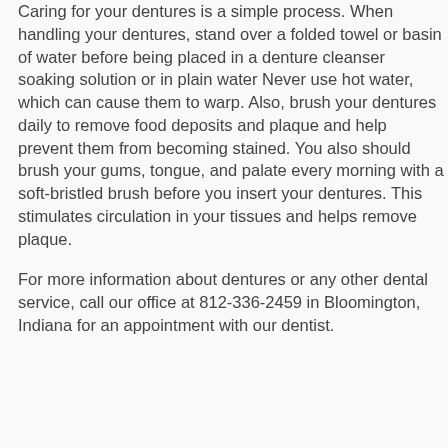Caring for your dentures is a simple process. When handling your dentures, stand over a folded towel or basin of water before being placed in a denture cleanser soaking solution or in plain water Never use hot water, which can cause them to warp. Also, brush your dentures daily to remove food deposits and plaque and help prevent them from becoming stained. You also should brush your gums, tongue, and palate every morning with a soft-bristled brush before you insert your dentures. This stimulates circulation in your tissues and helps remove plaque.
For more information about dentures or any other dental service, call our office at 812-336-2459 in Bloomington, Indiana for an appointment with our dentist.